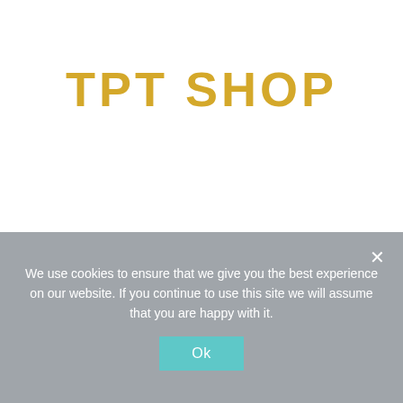TPT SHOP
STEM & STEAM
We use cookies to ensure that we give you the best experience on our website. If you continue to use this site we will assume that you are happy with it.